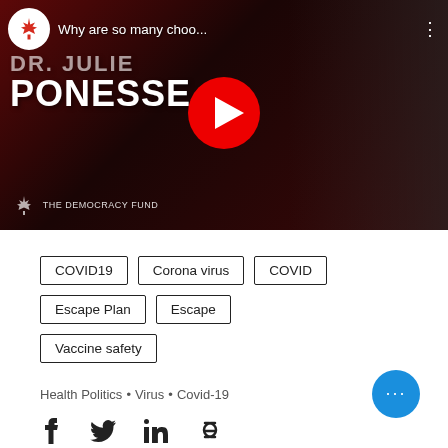[Figure (screenshot): YouTube video thumbnail showing 'Why are so many choo...' title with Dr. Julie Ponesse text overlaid on a red background, with a Canadian maple leaf channel icon, YouTube play button, Democracy Fund branding at bottom, and a woman visible on the right side.]
COVID19
Corona virus
COVID
Escape Plan
Escape
Vaccine safety
Health Politics • Virus • Covid-19